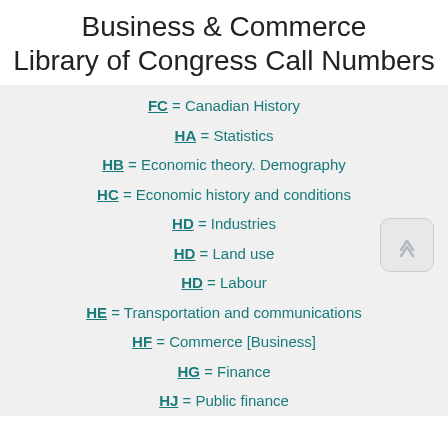Business & Commerce Library of Congress Call Numbers
FC = Canadian History
HA = Statistics
HB = Economic theory. Demography
HC = Economic history and conditions
HD = Industries
HD = Land use
HD = Labour
HE = Transportation and communications
HF = Commerce [Business]
HG = Finance
HJ = Public finance